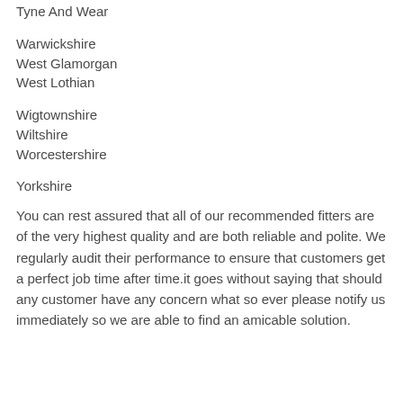Tyne And Wear
Warwickshire
West Glamorgan
West Lothian
Wigtownshire
Wiltshire
Worcestershire
Yorkshire
You can rest assured that all of our recommended fitters are of the very highest quality and are both reliable and polite. We regularly audit their performance to ensure that customers get a perfect job time after time.it goes without saying that should any customer have any concern what so ever please notify us immediately so we are able to find an amicable solution.